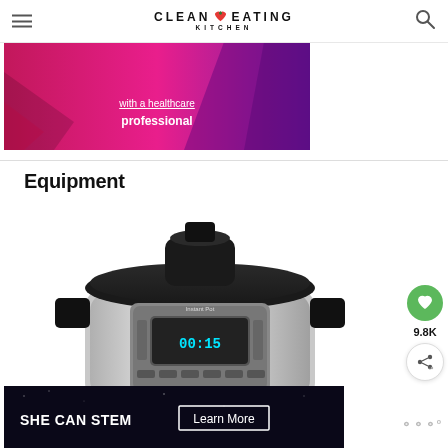CLEAN EATING KITCHEN
[Figure (photo): Pink/magenta advertisement banner with text referencing a healthcare professional]
Equipment
[Figure (photo): Instant Pot pressure cooker, stainless steel with black lid and digital display showing 00:15]
[Figure (infographic): Bottom advertisement for SHE CAN STEM with a Learn More button, dark background]
9.8K